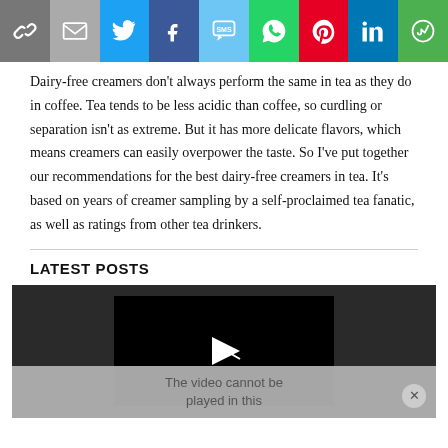[Figure (other): Social sharing bar with icons: link, email, Twitter, Facebook, SMS, WhatsApp, Pinterest, LinkedIn, More]
Dairy-free creamers don't always perform the same in tea as they do in coffee. Tea tends to be less acidic than coffee, so curdling or separation isn't as extreme. But it has more delicate flavors, which means creamers can easily overpower the taste. So I've put together our recommendations for the best dairy-free creamers in tea. It's based on years of creamer sampling by a self-proclaimed tea fanatic, as well as ratings from other tea drinkers.
LATEST POSTS
[Figure (screenshot): Video player thumbnail with dark background and play button arrow icon, with an error overlay 'The video cannot be played in this' and a close (x) button]